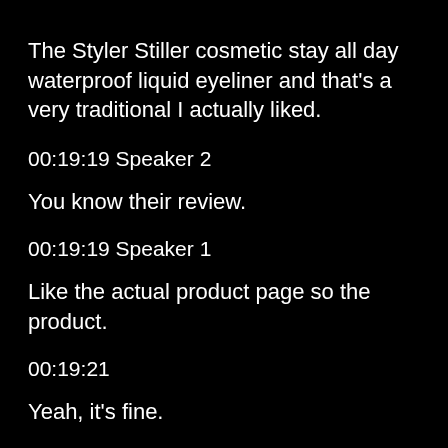The Styler Stiller cosmetic stay all day waterproof liquid eyeliner and that's a very traditional I actually liked.
00:19:19 Speaker 2
You know their review.
00:19:19 Speaker 1
Like the actual product page so the product.
00:19:21
Yeah, it's fine.
00:19:22 Speaker 1
Page actually is the best thing I've seen so far